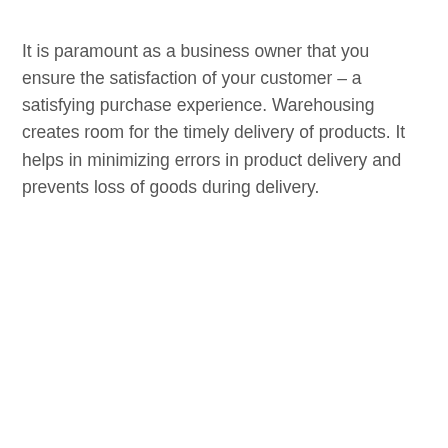It is paramount as a business owner that you ensure the satisfaction of your customer – a satisfying purchase experience. Warehousing creates room for the timely delivery of products. It helps in minimizing errors in product delivery and prevents loss of goods during delivery.